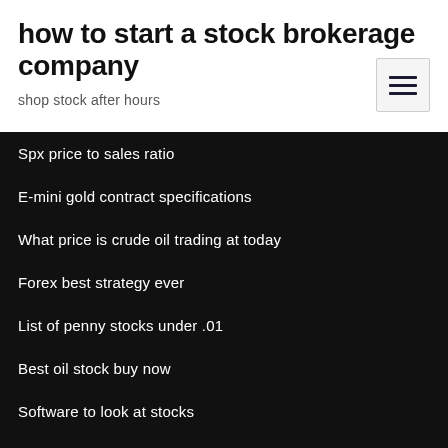how to start a stock brokerage company
shop stock after hours
[Figure (other): Hamburger menu button icon with three horizontal lines]
Spx price to sales ratio
E-mini gold contract specifications
What price is crude oil trading at today
Forex best strategy ever
List of penny stocks under .01
Best oil stock buy now
Software to look at stocks
Short selling bitcoin
Coinbase btc price chart